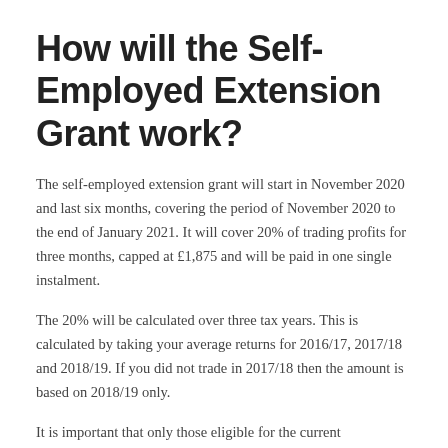How will the Self-Employed Extension Grant work?
The self-employed extension grant will start in November 2020 and last six months, covering the period of November 2020 to the end of January 2021. It will cover 20% of trading profits for three months, capped at £1,875 and will be paid in one single instalment.
The 20% will be calculated over three tax years. This is calculated by taking your average returns for 2016/17, 2017/18 and 2018/19. If you did not trade in 2017/18 then the amount is based on 2018/19 only.
It is important that only those eligible for the current